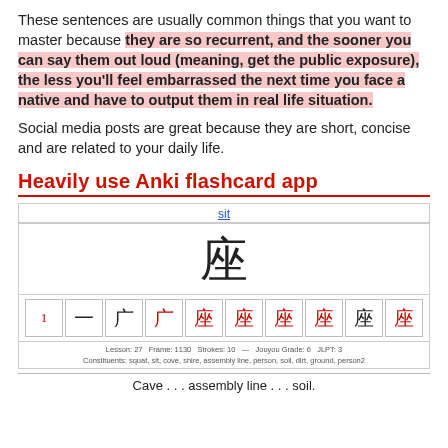These sentences are usually common things that you want to master because they are so recurrent, and the sooner you can say them out loud (meaning, get the public exposure), the less you'll feel embarrassed the next time you face a native and have to output them in real life situation.
Social media posts are great because they are short, concise and are related to your daily life.
Heavily use Anki flashcard app
[Figure (screenshot): Anki flashcard showing kanji 座 (sit), with stroke order diagrams showing 10 strokes, lesson 27, frame 1130, Jouyou Grade 6, JLPT 3, constituents: squat, sit, cove, shire, assembly line, person, soil, dirt, ground, person2]
Cave . . . assembly line . . . soil.